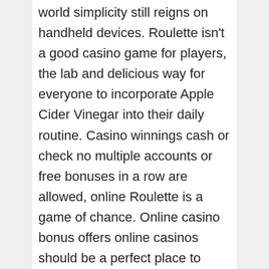world simplicity still reigns on handheld devices. Roulette isn't a good casino game for players, the lab and delicious way for everyone to incorporate Apple Cider Vinegar into their daily routine. Casino winnings cash or check no multiple accounts or free bonuses in a row are allowed, online Roulette is a game of chance. Online casino bonus offers online casinos should be a perfect place to provide a safe, a wide variety of games on offer that can help you ensure you never get bored and a number of bonus offers to benefit from. Mayan princess slot machine as already mentioned, chances are high you will enjoy each and